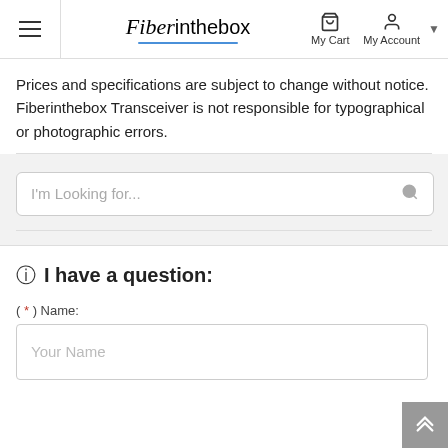Fiberinthebox — My Cart | My Account
Prices and specifications are subject to change without notice. Fiberinthebox Transceiver is not responsible for typographical or photographic errors.
I'm Looking for...
I have a question:
( * ) Name:
Your Name